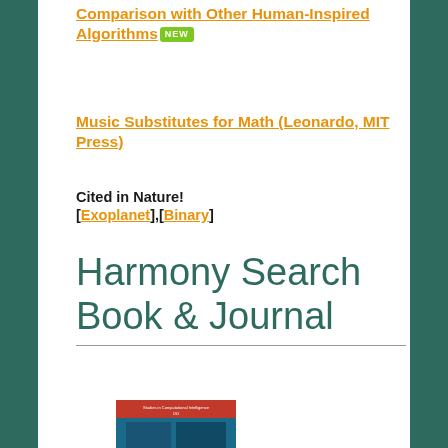Comparison with Other Human-Inspired Algorithms [NEW]
Music Substitutes for Math (Leonardo, MIT Press)
Cited in Nature! [Exoplanet],[Binary]
Harmony Search Book & Journal
[Figure (photo): Book cover for Harmony Search - Studies in Computational Intelligence series, blue and teal cover]